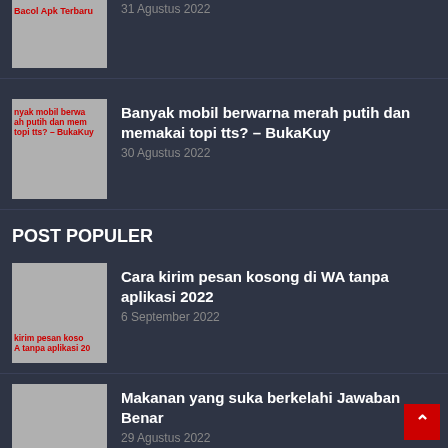[Figure (photo): Thumbnail image partially visible at top with text overlay 'Bacol Apk Terbaru']
31 Agustus 2022
[Figure (screenshot): Thumbnail with text overlay about mobil berwarna merah putih and BukaKuy]
Banyak mobil berwarna merah putih dan memakai topi tts? – BukaKuy
30 Agustus 2022
POST POPULER
[Figure (screenshot): Thumbnail with text overlay about kirim pesan kosong di WA tanpa aplikasi]
Cara kirim pesan kosong di WA tanpa aplikasi 2022
6 September 2022
[Figure (screenshot): Thumbnail with text overlay about Makanan yang suka berkelahi Jawaban Benar]
Makanan yang suka berkelahi Jawaban Benar
29 Agustus 2022
[Figure (screenshot): Thumbnail with text overlay about Prediksi Skor Valencia vs Atletico Madrid H2H]
Prediksi Skor Valencia vs Atletico Madrid H2H dan susunan pemain, La Liga Spanyol 30 Agustus 20__